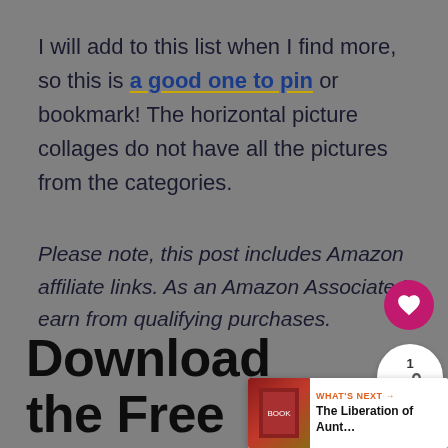I will add to this list when I find more, so this is a good one to pin or bookmark! The horizontal picture collages do not have all the pictures from the categories.
Please note, this post includes Amazon affiliate links. As an Amazon Associate I earn from qualifying purchases.
Download the Free Elements and Principles Printable